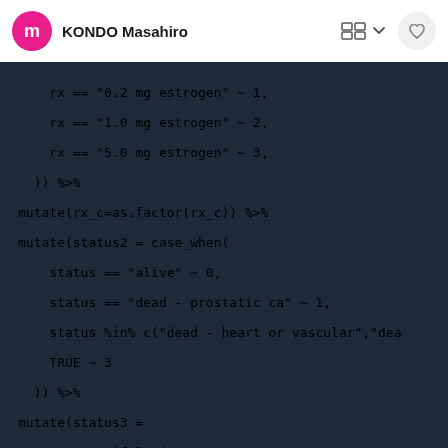KONDO Masahiro
rx == "0.2 mg estrogen" ~ 1,
    rx == "1.0 mg estrogen" ~ 2,
    rx == "5.0 mg estrogen" ~ 3,
  )) %>%
mutate(rx_c=as.factor(rx_c)) %>%
mutate(status2 = case_when(
    status == "alive" ~ 0,
    status == "dead - prostatic ca" ~ 1,
    status %in% c("dead - heart or vascular","dea
    TRUE ~ 3
  )) %>%
mutate(status3 =
            ifelse(status2==0,0,
                      ifelse(status2==2,1,0))) %>%
mutate(status4 =